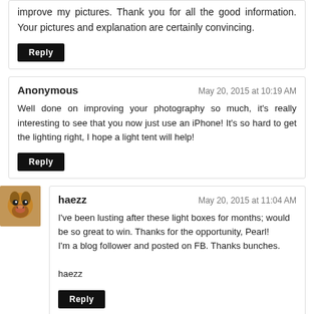improve my pictures. Thank you for all the good information. Your pictures and explanation are certainly convincing.
Reply
Anonymous — May 20, 2015 at 10:19 AM
Well done on improving your photography so much, it's really interesting to see that you now just use an iPhone! It's so hard to get the lighting right, I hope a light tent will help!
Reply
[Figure (photo): Avatar image of a dog (mastiff breed) for user haezz]
haezz — May 20, 2015 at 11:04 AM
I've been lusting after these light boxes for months; would be so great to win. Thanks for the opportunity, Pearl!
I'm a blog follower and posted on FB. Thanks bunches.

haezz
Reply